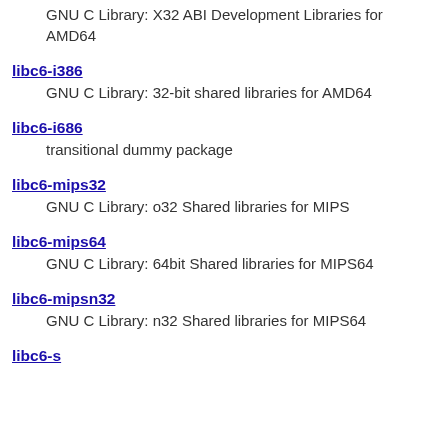GNU C Library: X32 ABI Development Libraries for AMD64
libc6-i386 — GNU C Library: 32-bit shared libraries for AMD64
libc6-i686 — transitional dummy package
libc6-mips32 — GNU C Library: o32 Shared libraries for MIPS
libc6-mips64 — GNU C Library: 64bit Shared libraries for MIPS64
libc6-mipsn32 — GNU C Library: n32 Shared libraries for MIPS64